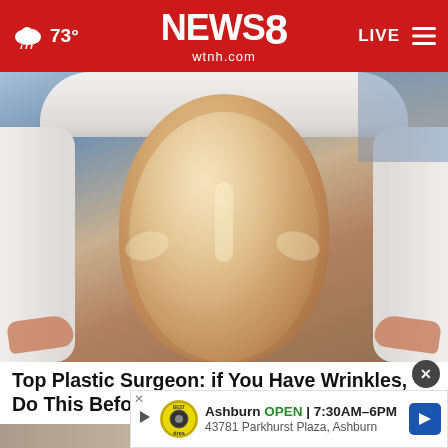NEWS 8 wtnh.com | 73° | LIVE
[Figure (photo): Woman lying down with a shiny/gel face mask applied, wrapped in white towels, eyes closed, receiving a facial treatment. Hands visible at sides holding towels.]
Top Plastic Surgeon: if You Have Wrinkles, Do This Before Bed!
Extre
[Figure (screenshot): Advertisement overlay: Tire Auto logo, Ashburn OPEN 7:30AM-6PM, 43781 Parkhurst Plaza, Ashburn, with blue arrow direction button. Play and X buttons visible.]